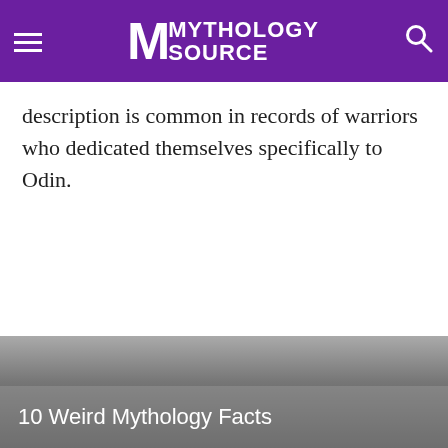Mythology Source
description is common in records of warriors who dedicated themselves specifically to Odin.
[Figure (photo): Bottom image with caption overlay reading '10 Weird Mythology Facts']
10 Weird Mythology Facts